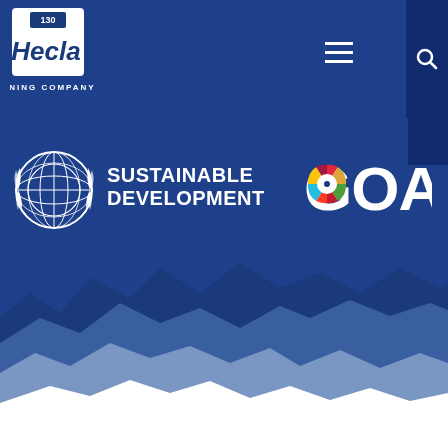[Figure (logo): Hecla Mining Company logo with '130' badge, white text on blue background]
[Figure (illustration): UN Sustainable Development Goals logo with UN emblem and colorful wheel in 'GOALS' text, white text on dark blue background]
[Figure (illustration): Mountain silhouette layered in dark blue, medium blue, and light blue/white tones at the bottom of the page]